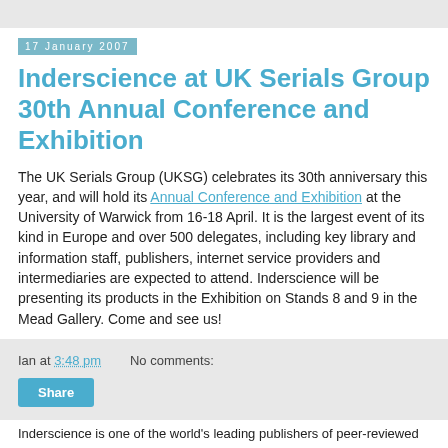17 January 2007
Inderscience at UK Serials Group 30th Annual Conference and Exhibition
The UK Serials Group (UKSG) celebrates its 30th anniversary this year, and will hold its Annual Conference and Exhibition at the University of Warwick from 16-18 April. It is the largest event of its kind in Europe and over 500 delegates, including key library and information staff, publishers, internet service providers and intermediaries are expected to attend. Inderscience will be presenting its products in the Exhibition on Stands 8 and 9 in the Mead Gallery. Come and see us!
Ian at 3:48 pm   No comments:
Share